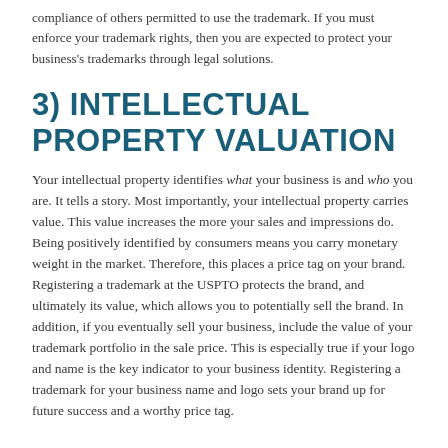compliance of others permitted to use the trademark. If you must enforce your trademark rights, then you are expected to protect your business's trademarks through legal solutions.
3) INTELLECTUAL PROPERTY VALUATION
Your intellectual property identifies what your business is and who you are. It tells a story. Most importantly, your intellectual property carries value. This value increases the more your sales and impressions do. Being positively identified by consumers means you carry monetary weight in the market. Therefore, this places a price tag on your brand. Registering a trademark at the USPTO protects the brand, and ultimately its value, which allows you to potentially sell the brand. In addition, if you eventually sell your business, include the value of your trademark portfolio in the sale price. This is especially true if your logo and name is the key indicator to your business identity. Registering a trademark for your business name and logo sets your brand up for future success and a worthy price tag.